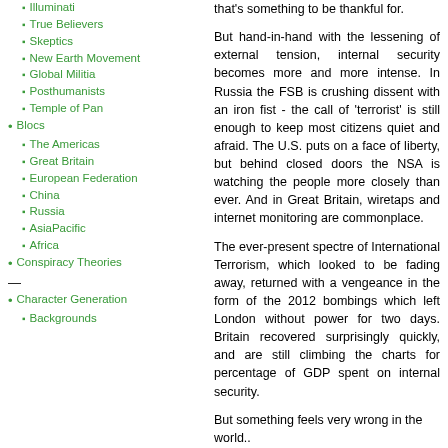Illuminati
True Believers
Skeptics
New Earth Movement
Global Militia
Posthumanists
Temple of Pan
Blocs
The Americas
Great Britain
European Federation
China
Russia
AsiaPacific
Africa
Conspiracy Theories
—
Character Generation
Backgrounds
that's something to be thankful for.
But hand-in-hand with the lessening of external tension, internal security becomes more and more intense. In Russia the FSB is crushing dissent with an iron fist - the call of 'terrorist' is still enough to keep most citizens quiet and afraid. The U.S. puts on a face of liberty, but behind closed doors the NSA is watching the people more closely than ever. And in Great Britain, wiretaps and internet monitoring are commonplace.
The ever-present spectre of International Terrorism, which looked to be fading away, returned with a vengeance in the form of the 2012 bombings which left London without power for two days. Britain recovered surprisingly quickly, and are still climbing the charts for percentage of GDP spent on internal security.
But something feels very wrong in the world..
Who are you?
You play a concerned citizen - someone who has realised that something is not right in the world, that everything is not as it seems. Shadowy figures manipulate the world from behind the scenes, and you want to find out what's really